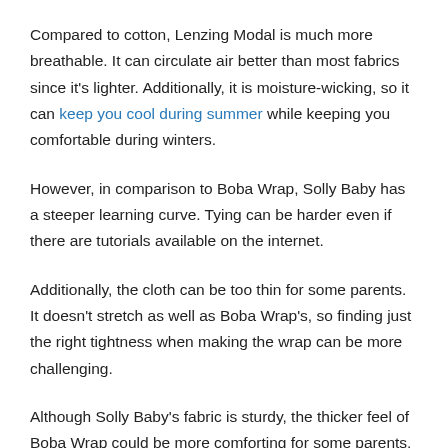Compared to cotton, Lenzing Modal is much more breathable. It can circulate air better than most fabrics since it's lighter. Additionally, it is moisture-wicking, so it can keep you cool during summer while keeping you comfortable during winters.
However, in comparison to Boba Wrap, Solly Baby has a steeper learning curve. Tying can be harder even if there are tutorials available on the internet.
Additionally, the cloth can be too thin for some parents. It doesn't stretch as well as Boba Wrap's, so finding just the right tightness when making the wrap can be more challenging.
Although Solly Baby's fabric is sturdy, the thicker feel of Boba Wrap could be more comforting for some parents. It is also more durable from wear-and-tear.